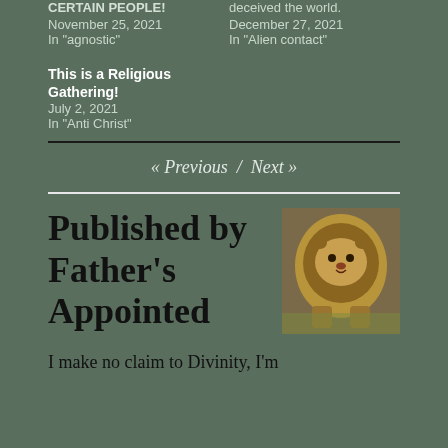CERTAIN PEOPLE!
November 25, 2021
In "agnostic"
deceived the world.
December 27, 2021
In "Alien contact"
This is a Religious Gathering!
July 2, 2021
In "Anti Christ"
« Previous  /  Next »
Published by Father's Appointed
[Figure (photo): A lion running toward the camera, photographed in a natural setting.]
I make no claim to Divinity, I'm